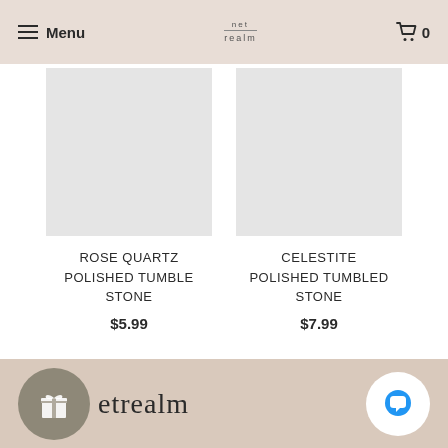Menu | net realm | Cart 0
[Figure (photo): Product image placeholder for Rose Quartz Polished Tumble Stone - light grey square]
ROSE QUARTZ POLISHED TUMBLE STONE
$5.99
[Figure (photo): Product image placeholder for Celestite Polished Tumbled Stone - light grey square]
CELESTITE POLISHED TUMBLED STONE
$7.99
etrealm